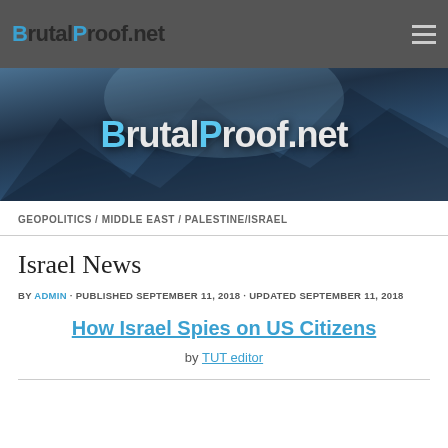BrutalProof.net
[Figure (illustration): Website banner header with mountain/glacier background and BrutalProof.net logo in white and light blue text]
GEOPOLITICS / MIDDLE EAST / PALESTINE/ISRAEL
Israel News
BY ADMIN · PUBLISHED SEPTEMBER 11, 2018 · UPDATED SEPTEMBER 11, 2018
How Israel Spies on US Citizens
by TUT editor